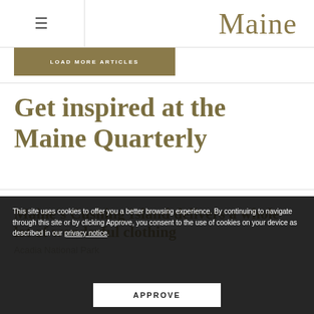Maine
LOAD MORE ARTICLES
Get inspired at the Maine Quarterly
Maine's Cushing Island delivers a whole lot of wonderful clothing
Acadia National Park
This site uses cookies to offer you a better browsing experience. By continuing to navigate through this site or by clicking Approve, you consent to the use of cookies on your device as described in our privacy notice.
APPROVE